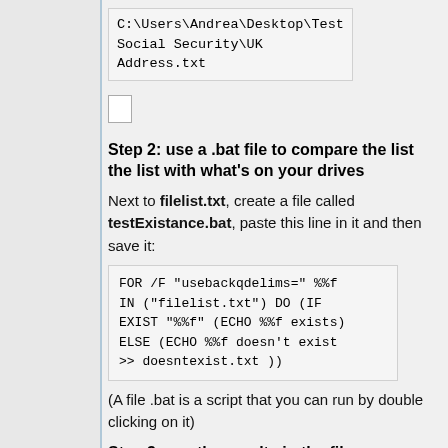C:\Users\Andrea\Desktop\Test Social Security\UK Address.txt
[Figure (other): Small document/file icon]
Step 2: use a .bat file to compare the list the list with what's on your drives
Next to filelist.txt, create a file called testExistance.bat, paste this line in it and then save it:
FOR /F "usebackqdelims=" %%f IN ("filelist.txt") DO (IF EXIST "%%f" (ECHO %%f exists) ELSE (ECHO %%f doesn't exist >> doesntexist.txt ))
(A file .bat is a script that you can run by double clicking on it)
Step 3: see the results in the file